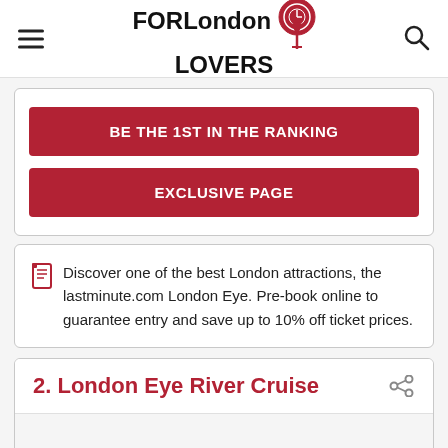FORLondon LOVERS
BE THE 1ST IN THE RANKING
EXCLUSIVE PAGE
Discover one of the best London attractions, the lastminute.com London Eye. Pre-book online to guarantee entry and save up to 10% off ticket prices.
2. London Eye River Cruise